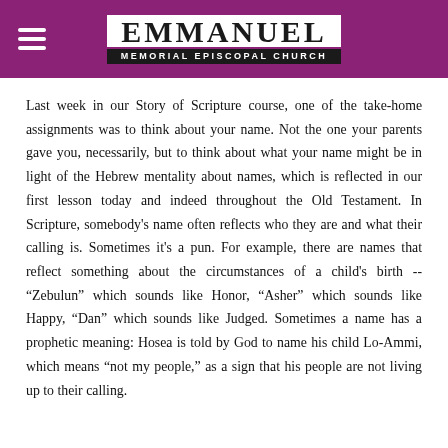EMMANUEL MEMORIAL EPISCOPAL CHURCH
Last week in our Story of Scripture course, one of the take-home assignments was to think about your name. Not the one your parents gave you, necessarily, but to think about what your name might be in light of the Hebrew mentality about names, which is reflected in our first lesson today and indeed throughout the Old Testament. In Scripture, somebody's name often reflects who they are and what their calling is. Sometimes it's a pun. For example, there are names that reflect something about the circumstances of a child's birth -- “Zebulun” which sounds like Honor, “Asher” which sounds like Happy, “Dan” which sounds like Judged. Sometimes a name has a prophetic meaning: Hosea is told by God to name his child Lo-Ammi, which means “not my people,” as a sign that his people are not living up to their calling.